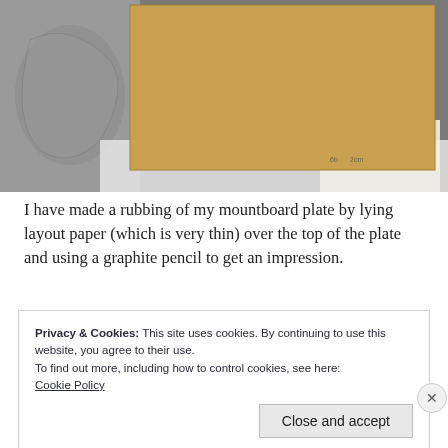[Figure (photo): Photograph of a mountboard plate with a bird drawing etched in brown/reddish lines on tan/kraft-colored board, surrounded by papers and art supplies on a table.]
I have made a rubbing of my mountboard plate by lying layout paper (which is very thin) over the top of the plate and using a graphite pencil to get an impression.
Privacy & Cookies: This site uses cookies. By continuing to use this website, you agree to their use.
To find out more, including how to control cookies, see here:
Cookie Policy
Close and accept